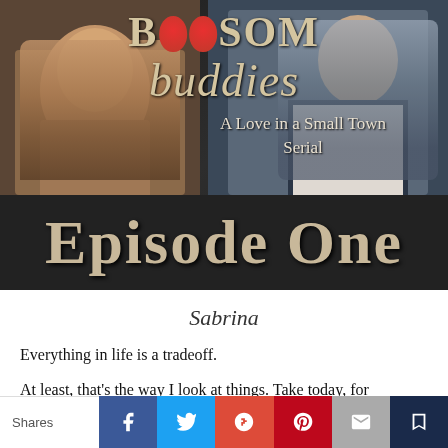[Figure (illustration): Book cover for 'Bosom Buddies: A Love in a Small Town Serial, Episode One' featuring two male figures on a dark textured background with large decorative title text]
Sabrina
Everything in life is a tradeoff.
At least, that's the way I look at things. Take today, for instance. Here I was at the end of a twenty-four-hour shift at the hospital, and by all rights, I should have been heading back to my condo to collapse into bed